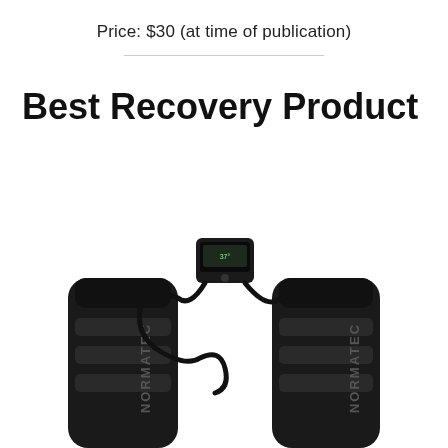Price: $30 (at time of publication)
Best Recovery Product
[Figure (photo): Two black NormaTec compression leg sleeves connected by cables to a small digital controller unit, shown against a white background. The word NORMATEC is visible on the side of each sleeve.]